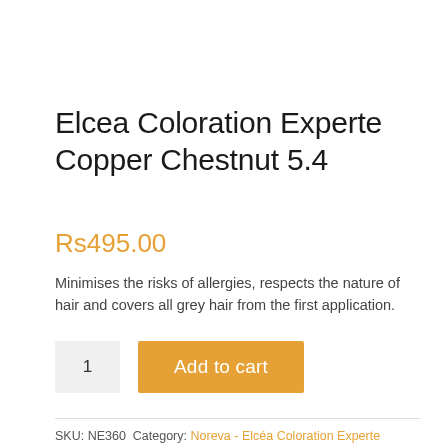Elcea Coloration Experte Copper Chestnut 5.4
Rs495.00
Minimises the risks of allergies, respects the nature of hair and covers all grey hair from the first application.
[Figure (other): Quantity input box showing '1' and an orange 'Add to cart' button]
SKU: NE360 Category: Noreva - Elcéa Coloration Experte Tag: All Types Of Skin